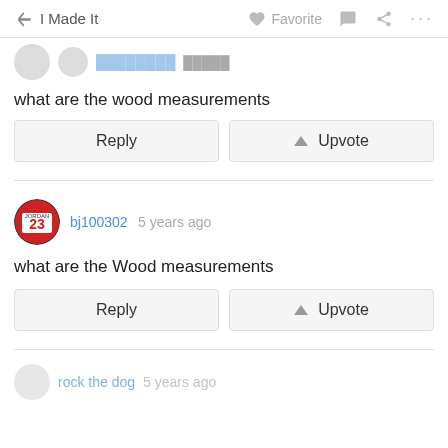I Made It  Favorite  ...
what are the wood measurements
Reply  Upvote
bj100302 5 years ago
what are the Wood measurements
Reply  Upvote
rock the dog 5 years ago